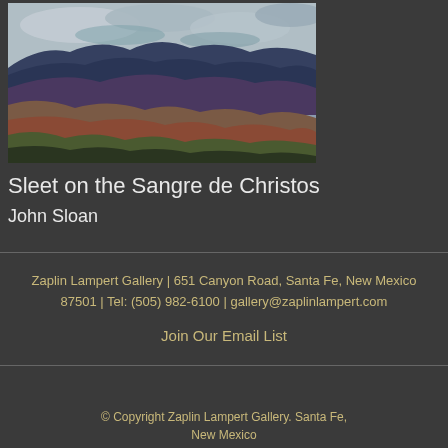[Figure (illustration): Painting of mountain landscape showing dark purple-blue mountain ranges under a dramatic cloudy sky, with rolling hills in earthy tones of brown, red, and green in the foreground.]
Sleet on the Sangre de Christos
John Sloan
Zaplin Lampert Gallery | 651 Canyon Road, Santa Fe, New Mexico 87501 | Tel: (505) 982-6100 | gallery@zaplinlampert.com
Join Our Email List
© Copyright Zaplin Lampert Gallery. Santa Fe, New Mexico